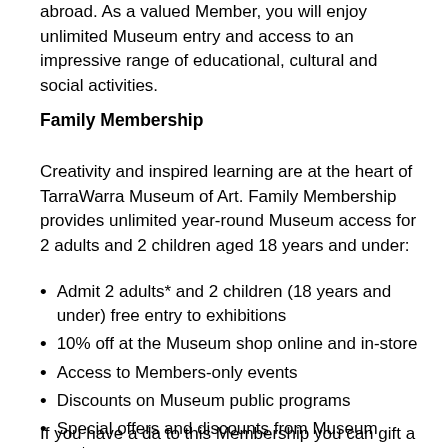abroad. As a valued Member, you will enjoy unlimited Museum entry and access to an impressive range of educational, cultural and social activities.
Family Membership
Creativity and inspired learning are at the heart of TarraWarra Museum of Art. Family Membership provides unlimited year-round Museum access for 2 adults and 2 children aged 18 years and under:
Admit 2 adults* and 2 children (18 years and under) free entry to exhibitions
10% off at the Museum shop online and in-store
Access to Members-only events
Discounts on Museum public programs
Special offers and discounts from Museum partners
If you have a da to this Membership you can gift a